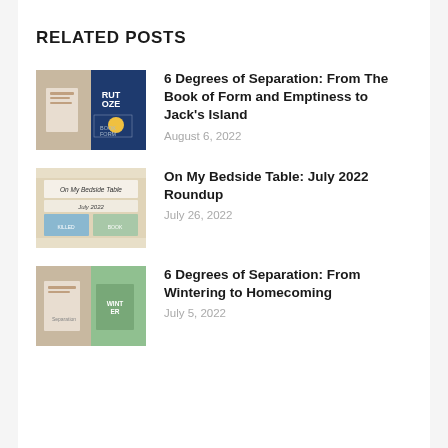RELATED POSTS
6 Degrees of Separation: From The Book of Form and Emptiness to Jack's Island
August 6, 2022
On My Bedside Table: July 2022 Roundup
July 26, 2022
6 Degrees of Separation: From Wintering to Homecoming
July 5, 2022